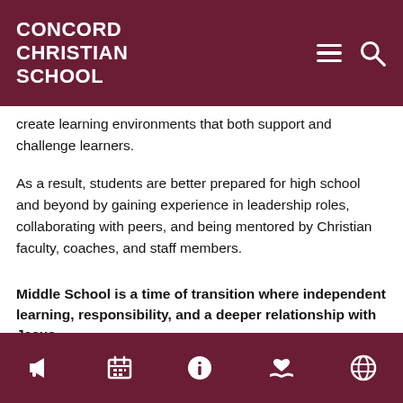CONCORD CHRISTIAN SCHOOL
create learning environments that both support and challenge learners.
As a result, students are better prepared for high school and beyond by gaining experience in leadership roles, collaborating with peers, and being mentored by Christian faculty, coaches, and staff members.
Middle School is a time of transition where independent learning, responsibility, and a deeper relationship with Jesus
[icons: megaphone, calendar, info, heart/donate, globe]